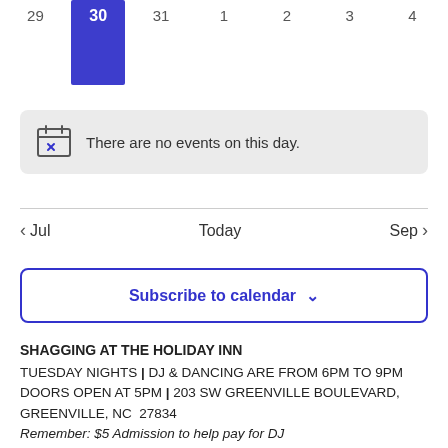[Figure (screenshot): Calendar week header showing days 29, 30 (highlighted blue as today), 31, 1, 2, 3, 4]
There are no events on this day.
< Jul    Today    Sep >
Subscribe to calendar ∨
SHAGGING AT THE HOLIDAY INN
TUESDAY NIGHTS | DJ & DANCING ARE FROM 6PM TO 9PM
DOORS OPEN AT 5PM | 203 SW GREENVILLE BOULEVARD, GREENVILLE, NC  27834
Remember: $5 Admission to help pay for DJ
For DJ Schedule CLICK HERE